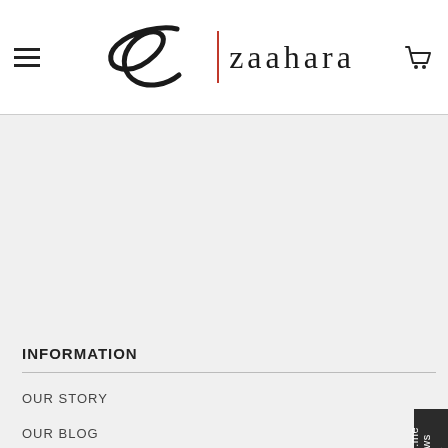[Figure (logo): Zaahara brand logo with stylized Z symbol, red vertical divider, and 'zaahara' text in serif font]
INFORMATION
OUR STORY
OUR BLOG
DELIVERIES & PAYMENTS
RETURN & REFUND POLICY